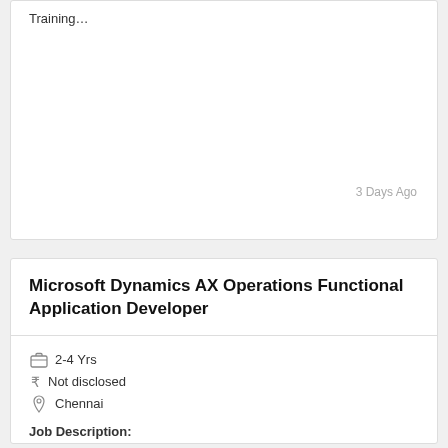Training…
3 Days Ago
Microsoft Dynamics AX Operations Functional Application Developer
2-4 Yrs
₹ Not disclosed
Chennai
Job Description:
Should be able to perform functional testing based on the use…